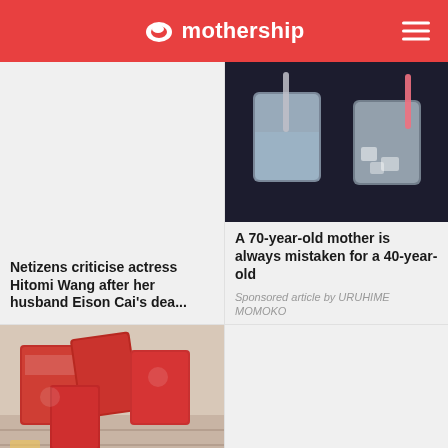mothership
[Figure (photo): Two glasses of water with ice and straws on a dark background]
Netizens criticise actress Hitomi Wang after her husband Eison Cai's dea...
A 70-year-old mother is always mistaken for a 40-year-old
Sponsored article by URUHIME MOMOKO
[Figure (photo): Red collagen product boxes in a shopping basket]
Don't be fooled by collagen! 90% of people don't know...
Here are 3 easy ways a busy working mum in S'pore makes the best o...